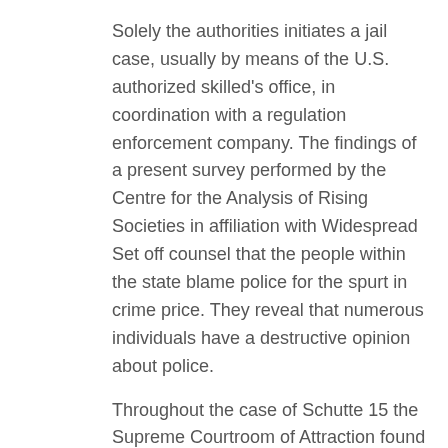Solely the authorities initiates a jail case, usually by means of the U.S. authorized skilled's office, in coordination with a regulation enforcement company. The findings of a present survey performed by the Centre for the Analysis of Rising Societies in affiliation with Widespread Set off counsel that the people within the state blame police for the spurt in crime price. They reveal that numerous individuals have a destructive opinion about police.
Throughout the case of Schutte 15 the Supreme Courtroom of Attraction found {that a} clause in a settlement settlement that prohibited the occasions to strategy a courtroom to fluctuate maintenance was not in opposition to public coverage. 5. Jail